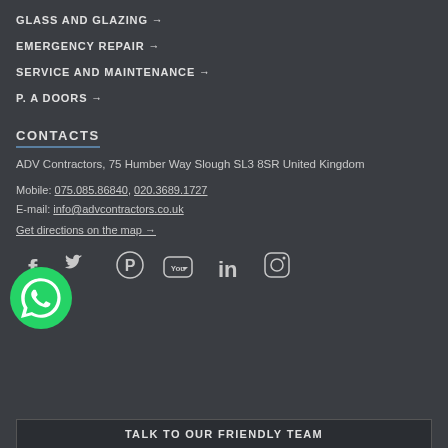GLASS AND GLAZING →
EMERGENCY REPAIR →
SERVICE AND MAINTENANCE →
P. A DOORS →
CONTACTS
ADV Contractors, 75 Humber Way Slough SL3 8SR United Kingdom
Mobile: 075.085.86840, 020.3689.1727
E-mail: info@advcontractors.co.uk
Get directions on the map →
[Figure (infographic): Social media icons: Facebook, Twitter, Pinterest, YouTube, LinkedIn, Instagram, WhatsApp]
TALK TO OUR FRIENDLY TEAM